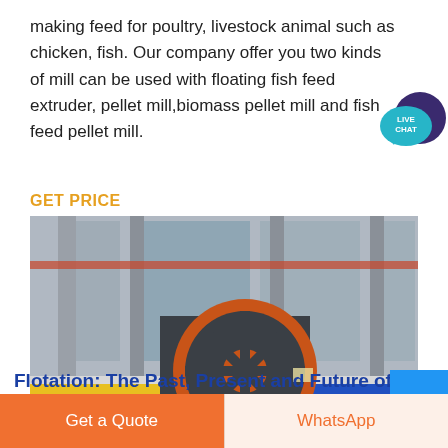making feed for poultry, livestock animal such as chicken, fish. Our company offer you two kinds of mill can be used with floating fish feed extruder, pellet mill,biomass pellet mill and fish feed pellet mill.
[Figure (logo): Live Chat bubble icon — teal speech bubble with 'LIVE CHAT' text in white, dark purple circle]
GET PRICE
[Figure (photo): Industrial machine — heavy jaw crusher or pellet mill machine with large orange circular flywheel, dark grey body, placed in an industrial facility with colorful floor markings (yellow, blue) and large windows in background]
Flotation: The Past, Present and Future of
Get a Quote
WhatsApp